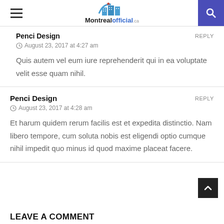MontrealOfficial.ca
Penci Design
August 23, 2017 at 4:27 am
Quis autem vel eum iure reprehenderit qui in ea voluptate velit esse quam nihil.
Penci Design
August 23, 2017 at 4:28 am
Et harum quidem rerum facilis est et expedita distinctio. Nam libero tempore, cum soluta nobis est eligendi optio cumque nihil impedit quo minus id quod maxime placeat facere.
LEAVE A COMMENT